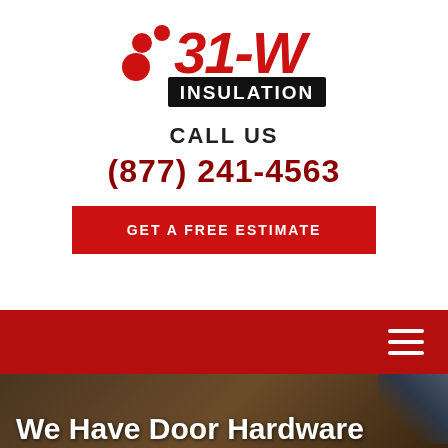[Figure (logo): 31-W Insulation company logo with red dots and bold red and black lettering on white background]
CALL US
(877) 241-4563
GET A FREE ESTIMATE
[Figure (infographic): Red navigation bar with white hamburger menu icon on the right]
[Figure (photo): Dark brown wooden door hardware background image]
We Have Door Hardware